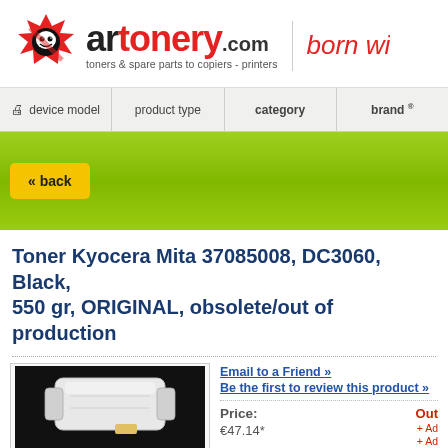[Figure (logo): artonery.com logo with mascot character and tagline 'toners & spare parts to copiers - printers', plus 'born wi' text in red italic]
device model
product type
category
brand ®
« back
Toner Kyocera Mita 37085008, DC3060, Black, 550 gr, ORIGINAL, obsolete/out of production
Email to a Friend »
Be the first to review this product »
Price:
€47.14*
Out
+ Ad
+ Ad
[Figure (photo): White toner cartridge against black background]